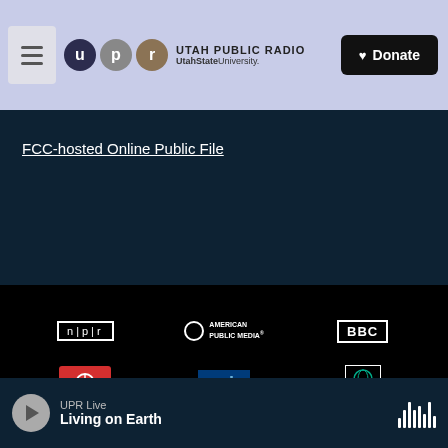[Figure (logo): Utah Public Radio / Utah State University logo with hamburger menu and Donate button]
FCC-hosted Online Public File
[Figure (logo): Grid of partner logos: NPR, American Public Media, BBC, CBC Radio, CPB, PRI, PRX, The Salt Lake Tribune, College of Humanities and Social Sciences Utah State University, Utah Humanities]
UPR Live
Living on Earth